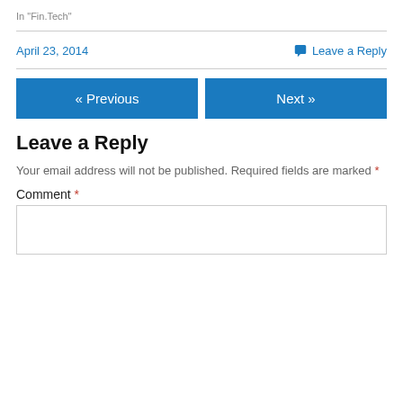In "Fin.Tech"
April 23, 2014    Leave a Reply
« Previous
Next »
Leave a Reply
Your email address will not be published. Required fields are marked *
Comment *